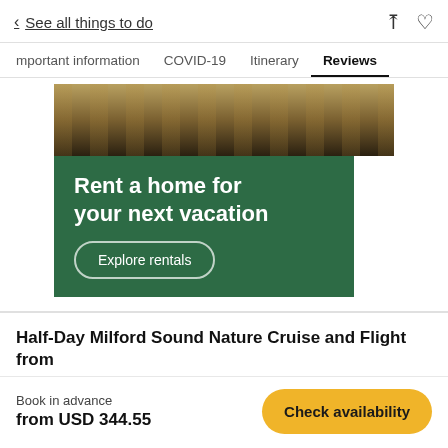< See all things to do
Important information  COVID-19  Itinerary  Reviews
[Figure (photo): Outdoor patio with wooden dining table and chairs, partially shaded, leading to a green advertisement banner reading 'Rent a home for your next vacation' with an 'Explore rentals' button.]
Half-Day Milford Sound Nature Cruise and Flight from
Book in advance
from USD 344.55
Check availability